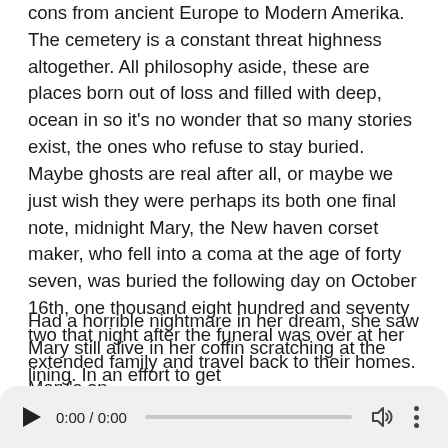cons from ancient Europe to Modern Amerika. The cemetery is a constant threat highness altogether. All philosophy aside, these are places born out of loss and filled with deep, ocean in so it's no wonder that so many stories exist, the ones who refuse to stay buried. Maybe ghosts are real after all, or maybe we just wish they were perhaps its both one final note, midnight Mary, the New haven corset maker, who fell into a coma at the age of forty seven, was buried the following day on October 16th, one thousand eight hundred and seventy two that night after the funeral was over at her extended family and travel back to their homes. Mary's on
Had a horrible nightmare in her dream, she saw Mary still alive in her coffin scratching at the lining. In an effort to get